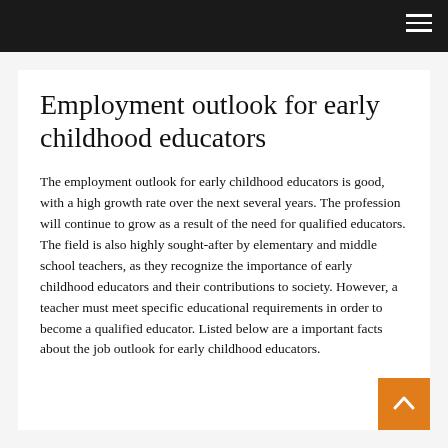Employment outlook for early childhood educators
The employment outlook for early childhood educators is good, with a high growth rate over the next several years. The profession will continue to grow as a result of the need for qualified educators. The field is also highly sought-after by elementary and middle school teachers, as they recognize the importance of early childhood educators and their contributions to society. However, a teacher must meet specific educational requirements in order to become a qualified educator. Listed below are a important facts about the job outlook for early childhood educators.